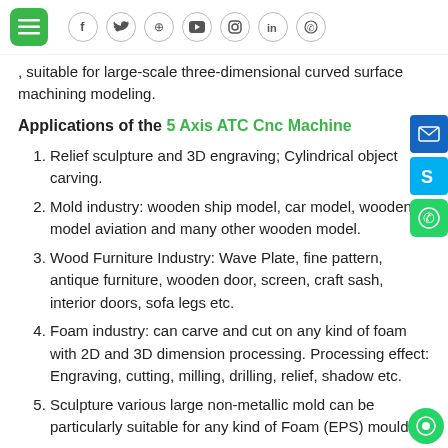Navigation header with menu, f, twitter, pinterest, youtube, instagram, linkedin, whatsapp social icons
, suitable for large-scale three-dimensional curved surface machining modeling.
Applications of the 5 Axis ATC Cnc Machine
Relief sculpture and 3D engraving; Cylindrical object carving.
Mold industry: wooden ship model, car model, wooden model aviation and many other wooden model.
Wood Furniture Industry: Wave Plate, fine pattern, antique furniture, wooden door, screen, craft sash, interior doors, sofa legs etc.
Foam industry: can carve and cut on any kind of foam with 2D and 3D dimension processing. Processing effect: Engraving, cutting, milling, drilling, relief, shadow etc.
Sculpture various large non-metallic mold can be particularly suitable for any kind of Foam (EPS) mould,